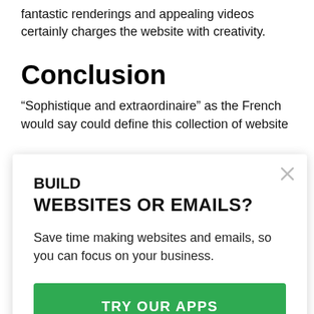fantastic renderings and appealing videos certainly charges the website with creativity.
Conclusion
“Sophistique and extraordinaire” as the French would say could define this collection of website
BUILD
WEBSITES OR EMAILS?
Save time making websites and emails, so you can focus on your business.
TRY OUR APPS